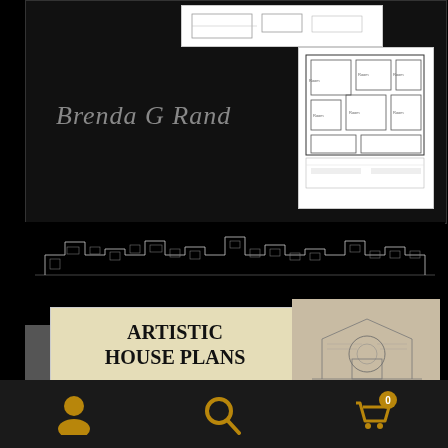[Figure (illustration): Book cover with dark background, author name 'Brenda G Rand' in gray italic text, a white floor plan image in top center bar, and a detailed floor plan diagram on the right side]
[Figure (illustration): Black and white architectural elevation drawing strip showing a long building facade]
[Figure (illustration): Lower book covers showing 'ARTISTIC HOUSE PLANS' title on a cream/beige background, with a partial architectural sketch on the right]
[Figure (illustration): Bottom navigation bar with user/profile icon, search/magnifier icon, and shopping cart icon with badge showing 0]